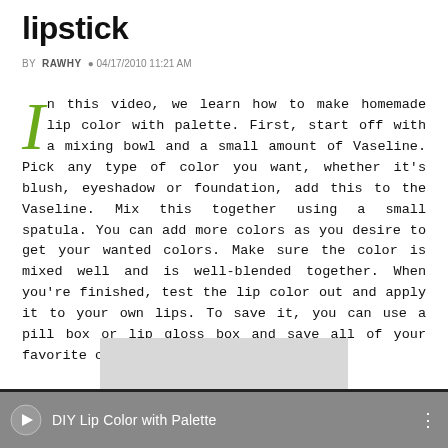lipstick
BY RAWHY  04/17/2010 11:21 AM
In this video, we learn how to make homemade lip color with palette. First, start off with a mixing bowl and a small amount of Vaseline. Pick any type of color you want, whether it's blush, eyeshadow or foundation, add this to the Vaseline. Mix this together using a small spatula. You can add more colors as you desire to get your wanted colors. Make sure the color is mixed well and is well-blended together. When you're finished, test the lip color out and apply it to your own lips. To save it, you can use a pill box or lip gloss box and save all of your favorite colors.
[Figure (other): Gray advertisement placeholder box]
[Figure (screenshot): Video player bar showing 'DIY Lip Color with Palette' with video icon and options dots on dark gray background]